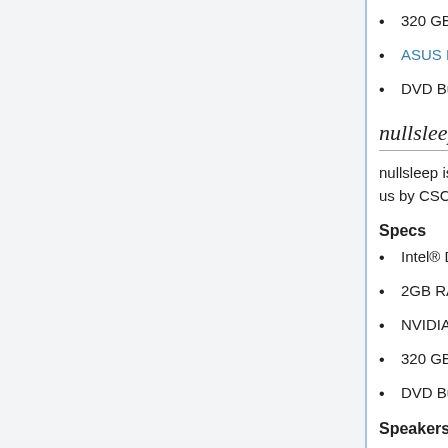320 GB Seagate Barracuda hard drive
ASUS P5L-MX [pdf] Motherboard
DVD Burner
nullsleep
nullsleep is an ASRock ION 330 [pdf] machine given to us by CSCF and funded by MEF.
Specs
Intel® Dual Core Atom™ 330
2GB RAM
NVIDIA® ION™ graphics
320 GB hard drive
DVD Burner
Speakers
Nullsleep has the office speakers